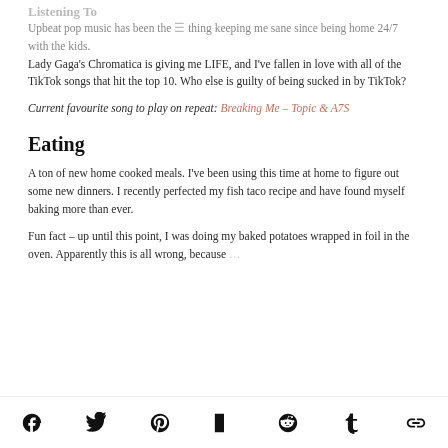Listening To
Upbeat pop music has been the #1 thing keeping me sane since being home 24/7 with the kids. Lady Gaga's Chromatica is giving me LIFE, and I've fallen in love with all of the TikTok songs that hit the top 10. Who else is guilty of being sucked in by TikTok?
Current favourite song to play on repeat: Breaking Me – Topic & A7S
Eating
A ton of new home cooked meals. I've been using this time at home to figure out some new dinners. I recently perfected my fish taco recipe and have found myself baking more than ever.
Fun fact – up until this point, I was doing my baked potatoes wrapped in foil in the oven. Apparently this is all wrong, because…
Social share icons: Facebook, Twitter, Pinterest, Flipboard, Reddit, Tumblr, Link